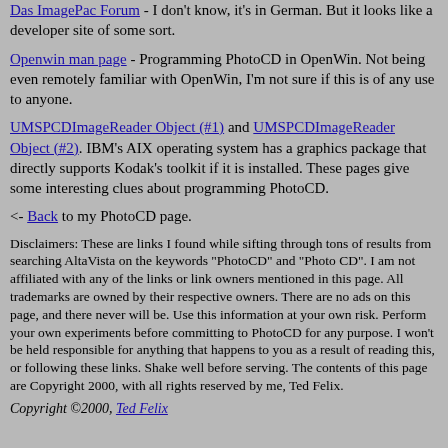Das ImagePac Forum - I don't know, it's in German. But it looks like a developer site of some sort.
Openwin man page - Programming PhotoCD in OpenWin. Not being even remotely familiar with OpenWin, I'm not sure if this is of any use to anyone.
UMSPCDImageReader Object (#1) and UMSPCDImageReader Object (#2). IBM's AIX operating system has a graphics package that directly supports Kodak's toolkit if it is installed. These pages give some interesting clues about programming PhotoCD.
<- Back to my PhotoCD page.
Disclaimers: These are links I found while sifting through tons of results from searching AltaVista on the keywords "PhotoCD" and "Photo CD". I am not affiliated with any of the links or link owners mentioned in this page. All trademarks are owned by their respective owners. There are no ads on this page, and there never will be. Use this information at your own risk. Perform your own experiments before committing to PhotoCD for any purpose. I won't be held responsible for anything that happens to you as a result of reading this, or following these links. Shake well before serving. The contents of this page are Copyright 2000, with all rights reserved by me, Ted Felix.
Copyright ©2000, Ted Felix